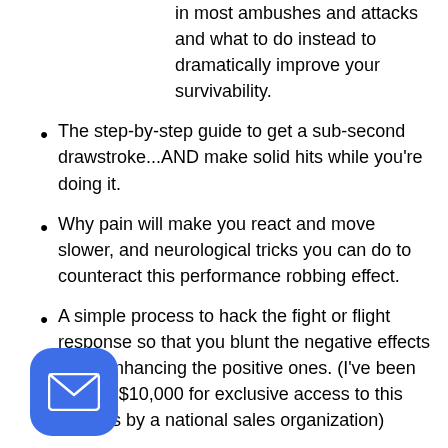in most ambushes and attacks and what to do instead to dramatically improve your survivability.
The step-by-step guide to get a sub-second drawstroke...AND make solid hits while you're doing it.
Why pain will make you react and move slower, and neurological tricks you can do to counteract this performance robbing effect.
A simple process to hack the fight or flight response so that you blunt the negative effects while enhancing the positive ones. (I've been offered $10,000 for exclusive access to this process by a national sales organization)
[Figure (illustration): Blue rounded square email icon button in the bottom left corner]